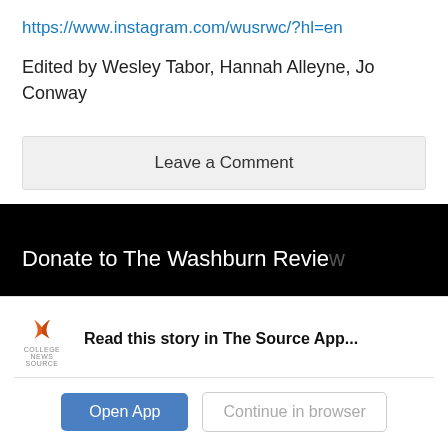https://www.instagram.com/wusrwc/?hl=en
Edited by Wesley Tabor, Hannah Alleyne, Jo Conway
Leave a Comment
[Figure (screenshot): Black banner with white text reading 'Donate to The Washburn Revie']
[Figure (screenshot): App banner: College News Source logo with text 'Read this story in The Source App...' and two buttons: 'Open App' and 'Continue in browser']